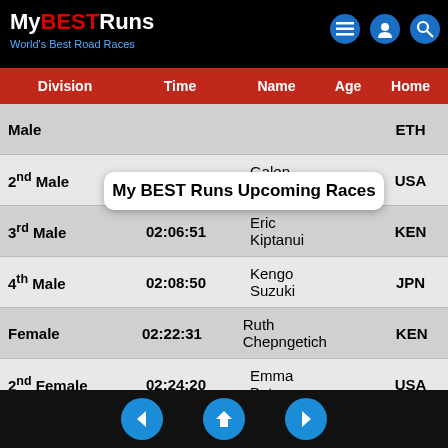MyBESTRuns — World's Best Road Races
My BEST Runs Upcoming Races
| Division | Time | Name | Age | Home |
| --- | --- | --- | --- | --- |
| Male |  |  |  | ETH |
| 2nd Male | 02:06:35 | Galen Rupp |  | USA |
| 3rd Male | 02:06:51 | Eric Kiptanui |  | KEN |
| 4th Male | 02:08:50 | Kengo Suzuki |  | JPN |
| Female | 02:22:31 | Ruth Chepngetich |  | KEN |
| 2nd Female | 02:24:20 | Emma Bates |  | USA |
| 3rd Female | 02:27:19 | Sara Hall |  | USA |
| 4th Female | 02:28:22 | Keira DAmato |  | USA |
| Division | Time | Name | Age | Home |
| --- | --- | --- | --- | --- |
| M 40-49 | 02:32:45 | Landry Francois |  | CAN |
| M 50-59 | 02:46:12 | Clark Steven |  | USA |
| M 60-69 | 02:55:52 | Schmidt Steve |  | USA |
| F 40-49 | 02:46:39 | Flanagan Shalane |  | USA |
Navigation: back | home | forward